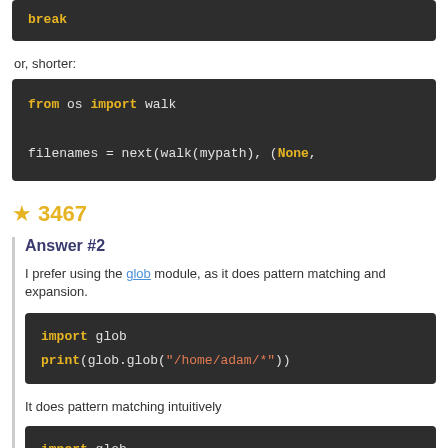[Figure (screenshot): Code block showing 'break' keyword in dark theme]
or, shorter:
[Figure (screenshot): Code block: 'from os import walk' and 'filenames = next(walk(mypath), (None,']
★ 3467
Answer #2
I prefer using the glob module, as it does pattern matching and expansion.
[Figure (screenshot): Code block: 'import glob' and 'print(glob.glob("/home/adam/*"))']
It does pattern matching intuitively
[Figure (screenshot): Code block: 'import glob']